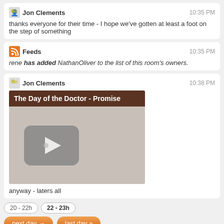Jon Clements  10:35 PM
thanks everyone for their time - I hope we've gotten at least a foot on the step of something
Feeds  10:35 PM
rene has added NathanOliver to the list of this room's owners.
Jon Clements  10:38 PM
[Figure (screenshot): Embedded YouTube-style video thumbnail for 'The Day of the Doctor - Promise' with play button]
anyway - laters all
20 - 22h
22 - 23h
next day →
last day »
join this room